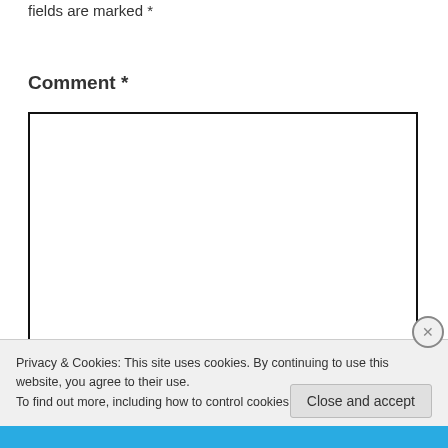fields are marked *
Comment *
[Figure (screenshot): Empty comment text area input box with black border]
Privacy & Cookies: This site uses cookies. By continuing to use this website, you agree to their use.
To find out more, including how to control cookies, see here: Cookie Policy
Close and accept